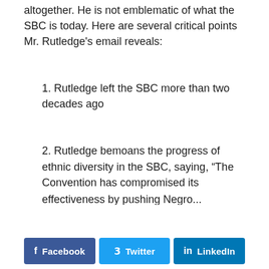altogether. He is not emblematic of what the SBC is today. Here are several critical points Mr. Rutledge's email reveals:
1. Rutledge left the SBC more than two decades ago
2. Rutledge bemoans the progress of ethnic diversity in the SBC, saying, “The Convention has compromised its effectiveness by pushing Negro...
Facebook  Twitter  LinkedIn